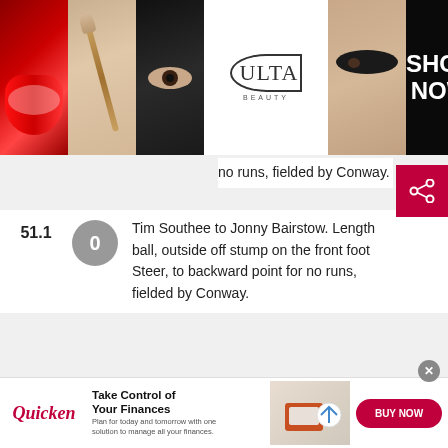[Figure (photo): Top banner advertisement for ULTA Beauty showing makeup images (lips, brush, eyes), ULTA logo, a model's eye, and SHOP NOW button with close X]
no runs, fielded by Conway.
51.1  0  Tim Southee to Jonny Bairstow. Length ball, outside off stump on the front foot Steer, to backward point for no runs, fielded by Conway.
Over 51. 6 runs. Bowler: Michael
[Figure (photo): BestSelling advertisement on orange background with text 'BestSelling Our Most Popular Products – Updated Weekly!' and shopping item icons]
[Figure (photo): Quicken advertisement at bottom: 'Take Control of Your Finances' with BUY NOW button and woman with laptop image]